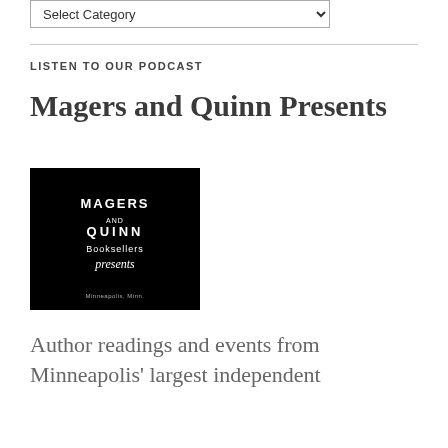[Figure (screenshot): Dropdown select box labeled 'Select Category']
LISTEN TO OUR PODCAST
Magers and Quinn Presents
[Figure (logo): Black square logo with white text: MAGERS AND QUINN Booksellers presents, Minneapolis, Minn.]
Author readings and events from Minneapolis' largest independent